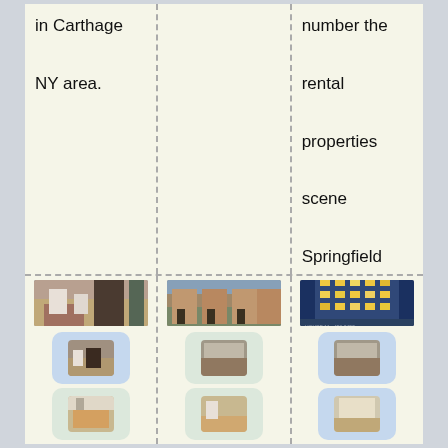in Carthage NY area.
number the rental properties scene Springfield TN!
[Figure (photo): Interior room photo showing dining area with chairs and dark furniture]
[Figure (photo): Exterior row of brick townhouses with trees and street]
[Figure (photo): Modern apartment building exterior at night with balconies lit up]
[Figure (photo): Small thumbnail of interior room]
[Figure (photo): Small thumbnail of interior room]
[Figure (photo): Small thumbnail of interior room]
[Figure (photo): Small thumbnail of interior room]
[Figure (photo): Small thumbnail of interior room]
[Figure (photo): Small thumbnail of interior room]